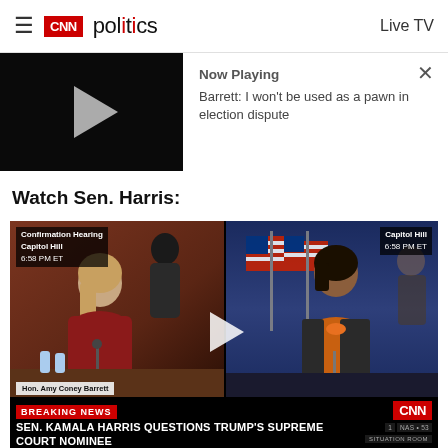CNN politics | Live TV
[Figure (screenshot): CNN video player showing now playing: Barrett: I won't be used as a pawn in election dispute]
Watch Sen. Harris:
[Figure (screenshot): CNN split-screen video thumbnail showing confirmation hearing at Capitol Hill 6:58 PM ET. Left side shows Hon. Amy Coney Barrett, right side shows Sen. Kamala Harris (D) Vice Presidential Nominee. Breaking News chyron: SEN. KAMALA HARRIS QUESTIONS TRUMP'S SUPREME COURT NOMINEE. CNN Situation Room bug.]